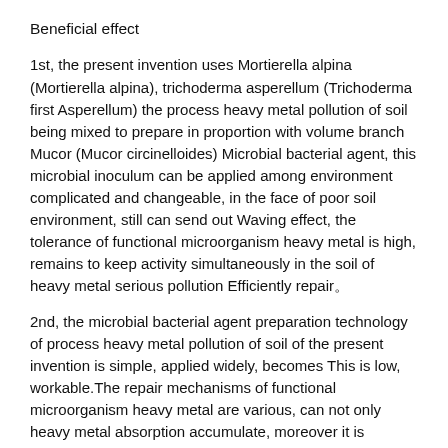Beneficial effect
1st, the present invention uses Mortierella alpina (Mortierella alpina), trichoderma asperellum (Trichoderma first Asperellum) the process heavy metal pollution of soil being mixed to prepare in proportion with volume branch Mucor (Mucor circinelloides) Microbial bacterial agent, this microbial inoculum can be applied among environment complicated and changeable, in the face of poor soil environment, still can send out Waving effect, the tolerance of functional microorganism heavy metal is high, remains to keep activity simultaneously in the soil of heavy metal serious pollution Efficiently repair。
2nd, the microbial bacterial agent preparation technology of process heavy metal pollution of soil of the present invention is simple, applied widely, becomes This is low, workable.The repair mechanisms of functional microorganism heavy metal are various, can not only heavy metal absorption accumulate, moreover it is possible to Enough heavy metal is converted into stable state, administers heavy metal-polluted on the basis of not causing secondary to destroy environment to greatest